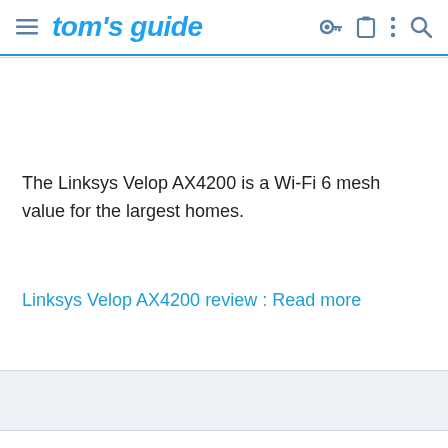tom's guide
The Linksys Velop AX4200 is a Wi-Fi 6 mesh value for the largest homes.
Linksys Velop AX4200 review : Read more